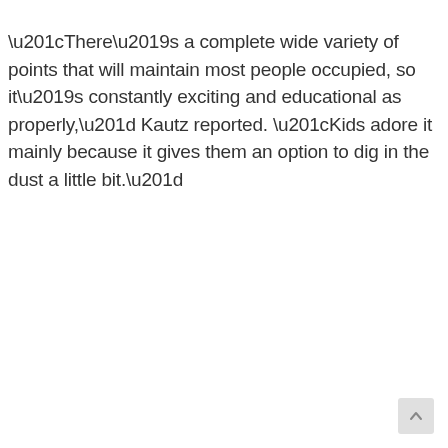“There’s a complete wide variety of points that will maintain most people occupied, so it’s constantly exciting and educational as properly,” Kautz reported. “Kids adore it mainly because it gives them an option to dig in the dust a little bit.”